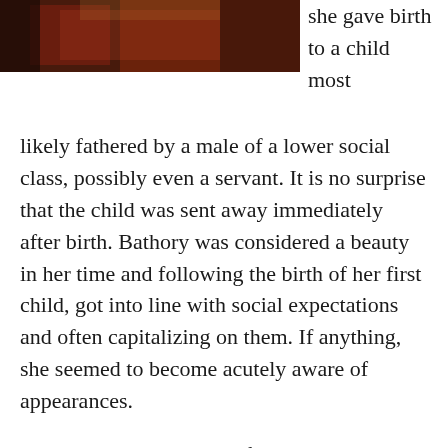[Figure (photo): A painting or artwork with red drapery and figures, partially visible at the top of the page.]
she gave birth to a child most likely fathered by a male of a lower social class, possibly even a servant. It is no surprise that the child was sent away immediately after birth. Bathory was considered a beauty in her time and following the birth of her first child, got into line with social expectations and often capitalizing on them. If anything, she seemed to become acutely aware of appearances.
Wuornos experienced a life where sex was a twisted commodity that both created the “monster” she became, but also provided money and goods. Bathory, as were so many women of her time and of the noble